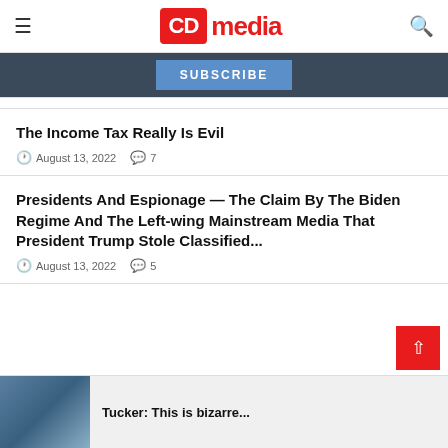CD media
SUBSCRIBE
The Income Tax Really Is Evil
August 13, 2022  7
Presidents And Espionage — The Claim By The Biden Regime And The Left-wing Mainstream Media That President Trump Stole Classified...
August 13, 2022  5
Tucker: This is bizarre...